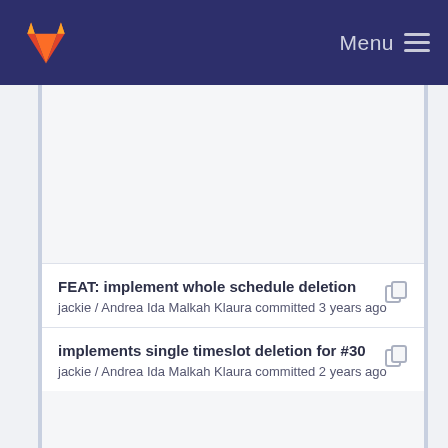Menu
FEAT: implement whole schedule deletion
jackie / Andrea Ida Malkah Klaura committed 3 years ago
implements single timeslot deletion for #30
jackie / Andrea Ida Malkah Klaura committed 2 years ago